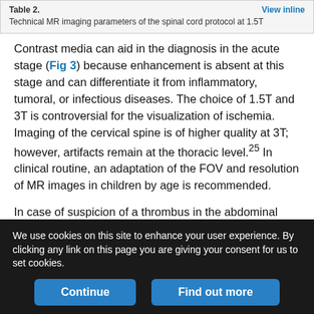Table 2. Technical MR imaging parameters of the spinal cord protocol at 1.5T
Contrast media can aid in the diagnosis in the acute stage (Fig 3) because enhancement is absent at this stage and can differentiate it from inflammatory, tumoral, or infectious diseases. The choice of 1.5T and 3T is controversial for the visualization of ischemia. Imaging of the cervical spine is of higher quality at 3T; however, artifacts remain at the thoracic level.25 In clinical routine, an adaptation of the FOV and resolution of MR images in children by age is recommended.
In case of suspicion of a thrombus in the abdominal aorta, the visualization of the artery of Adamkiewicz by MR angiography can
We use cookies on this site to enhance your user experience. By clicking any link on this page you are giving your consent for us to set cookies.